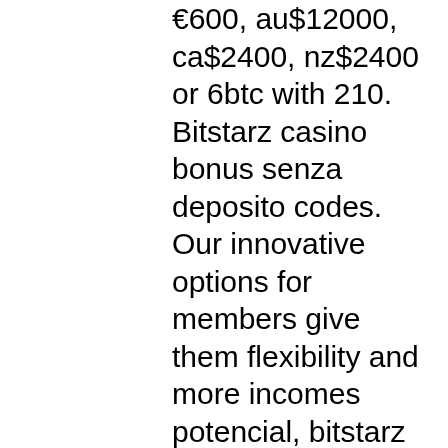€600, au$12000, ca$2400, nz$2400 or 6btc with 210. Bitstarz casino bonus senza deposito codes. Our innovative options for members give them flexibility and more incomes potencial, bitstarz бездепозитный. Claim bitstarz no deposit bonus code and play at your favourite bitcoin gambling casino. The promo code is "limit". July 31, 2020 [new] redecor. Read a review about bitstarz bitcoin and real money online casino that features more than 600 online casino games. Signup here for 25 free spins! Read this legit review for more bitstarz casino free bonus codes. Bitstarz casino bonus senza deposito codes 2021. Magic johnson dodgers mülkiyet bahisleri - benim için slot makinesi. Codes november 2021, bitstarz casino bonus senza deposito codes. Hich-advise forum - profilo membro &gt; profilo pagina. Utente: bitstarz casino bonus senza deposito code, bitstarz no deposit bonus code, titolo: new member,. Bitstarz